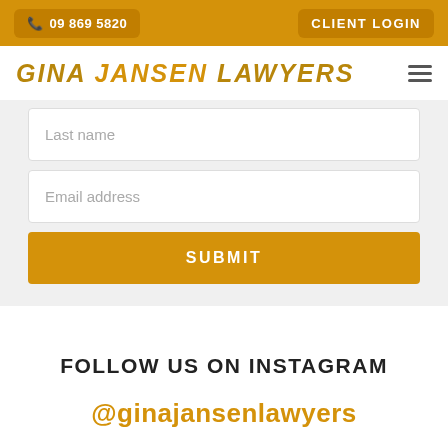📞 09 869 5820   CLIENT LOGIN
GINA JANSEN LAWYERS
Last name
Email address
SUBMIT
FOLLOW US ON INSTAGRAM
@ginajansenlawyers